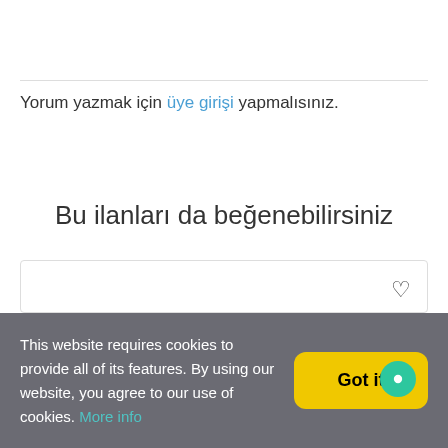Yorum yazmak için üye girişi yapmalısınız.
Bu ilanları da beğenebilirsiniz
[Figure (other): Product card placeholder with heart/favorite icon in top right corner]
This website requires cookies to provide all of its features. By using our website, you agree to our use of cookies. More info